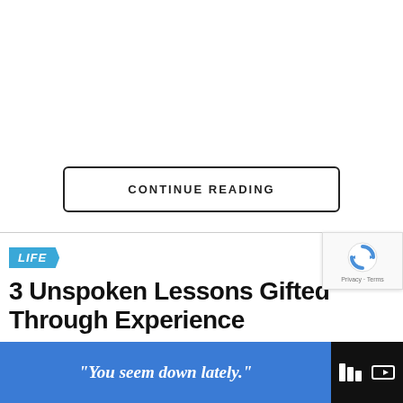CONTINUE READING
3 Unspoken Lessons Gifted Through Experience
LIFE
"You seem down lately."